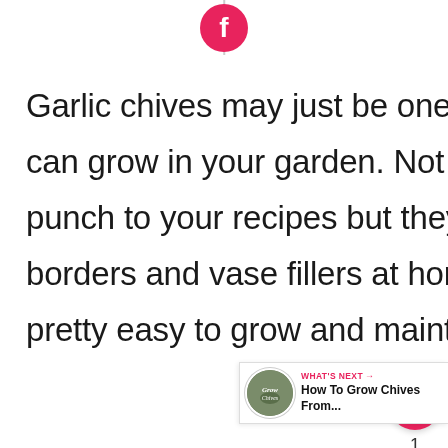[Figure (logo): Red Facebook logo icon centered at top with vertical gray divider line above it]
Garlic chives may just be one of the most useful herbs you can grow in your garden. Not only do they add a garlicky punch to your recipes but they also make for great flower borders and vase fillers at home. What’s more, they’re pretty easy to grow and maintain.
[Figure (infographic): Floating action buttons: red heart/like button with count of 1 below it, and gray share button below that]
[Figure (infographic): What's Next overlay showing thumbnail image with text 'How To Grow Chives From...']